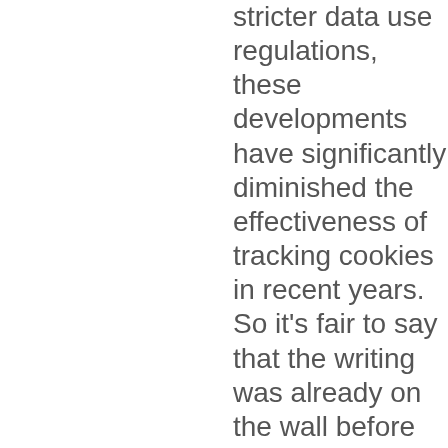stricter data use regulations, these developments have significantly diminished the effectiveness of tracking cookies in recent years. So it's fair to say that the writing was already on the wall before the tech giant